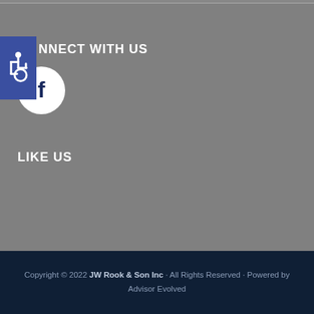[Figure (logo): Blue square accessibility/wheelchair icon]
CONNECT WITH US
[Figure (logo): Facebook circular button with white background and dark blue 'f' logo]
LIKE US
Copyright © 2022 JW Rook & Son Inc · All Rights Reserved · Powered by Advisor Evolved